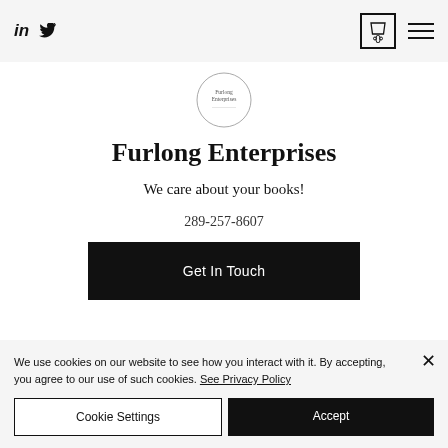in [linkedin icon] [twitter icon] | [cart: 0] [hamburger menu]
[Figure (logo): Furlong Enterprises circular logo with text inside a circle]
Furlong Enterprises
We care about your books!
289-257-8607
Get In Touch
We use cookies on our website to see how you interact with it. By accepting, you agree to our use of such cookies. See Privacy Policy
Cookie Settings
Accept